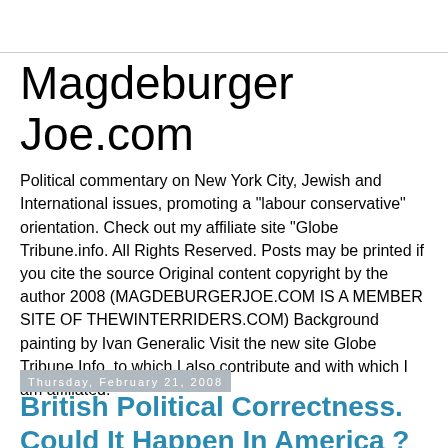Magdeburger Joe.com
Political commentary on New York City, Jewish and International issues, promoting a "labour conservative" orientation. Check out my affiliate site "Globe Tribune.info. All Rights Reserved. Posts may be printed if you cite the source Original content copyright by the author 2008 (MAGDEBURGERJOE.COM IS A MEMBER SITE OF THEWINTERRIDERS.COM) Background painting by Ivan Generalic Visit the new site Globe Tribune.Info, to which I also contribute and with which I am affiliated.
Thursday, February 21, 2008
British Political Correctness. Could It Happen In America ?